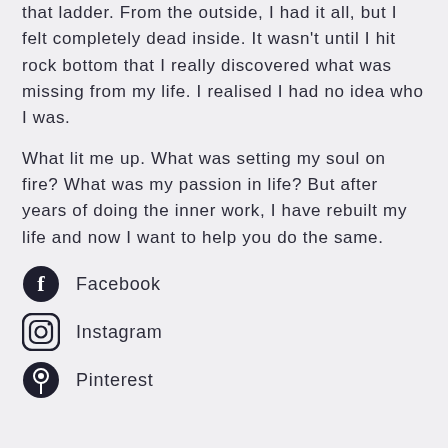that ladder. From the outside, I had it all, but I felt completely dead inside. It wasn't until I hit rock bottom that I really discovered what was missing from my life. I realised I had no idea who I was.
What lit me up. What was setting my soul on fire? What was my passion in life? But after years of doing the inner work, I have rebuilt my life and now I want to help you do the same.
Facebook
Instagram
Pinterest